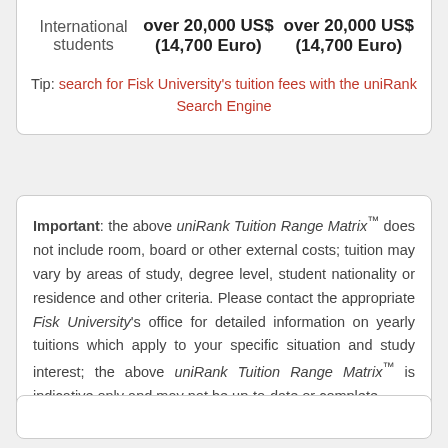|  | Col1 | Col2 |
| --- | --- | --- |
| International students | over 20,000 US$ (14,700 Euro) | over 20,000 US$ (14,700 Euro) |
Tip: search for Fisk University's tuition fees with the uniRank Search Engine
Important: the above uniRank Tuition Range Matrix™ does not include room, board or other external costs; tuition may vary by areas of study, degree level, student nationality or residence and other criteria. Please contact the appropriate Fisk University's office for detailed information on yearly tuitions which apply to your specific situation and study interest; the above uniRank Tuition Range Matrix™ is indicative only and may not be up-to-date or complete.